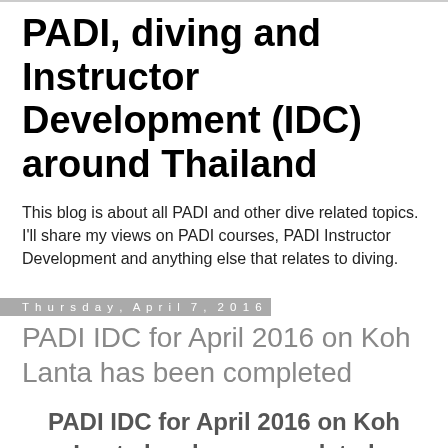PADI, diving and Instructor Development (IDC) around Thailand
This blog is about all PADI and other dive related topics. I'll share my views on PADI courses, PADI Instructor Development and anything else that relates to diving.
Thursday, April 7, 2016
PADI IDC for April 2016 on Koh Lanta has been completed
PADI IDC for April 2016 on Koh Lanta has been completed
Today we're on the last day of this current PADI IDC on Koh